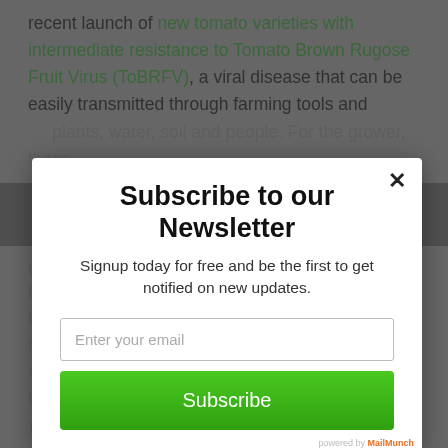recent launch of new tomato varieties with intermediate resistance to Tomato Brown Rugose Fruit Virus (ToBRFV), a viral disease that can be easily transmitted through farming tools and contact plants, water, soil and people. For the grower, these
Subscribe to our Newsletter
Signup today for free and be the first to get notified on new updates.
Enter your email
Subscribe
glasshouse climate conditions, and ... to help autonomous monitoring of plant growth and balance to better steer plant performance, building confidence every step of the way and allowing growers to maximize crop yield and returns.
powered by MailMunch